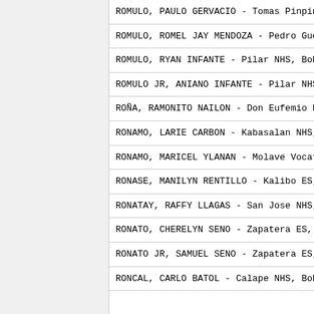ROMULO, PAULO GERVACIO - Tomas Pinpin MES, Bata...
ROMULO, ROMEL JAY MENDOZA - Pedro Guevarra MNHS...
ROMULO, RYAN INFANTE - Pilar NHS, Bohol (Centra...
ROMULO JR, ANIANO INFANTE - Pilar NHS, Bohol (C...
ROÑA, RAMONITO NAILON - Don Eufemio F. Eriquel...
RONAMO, LARIE CARBON - Kabasalan NHS, Zamboanga...
RONAMO, MARICEL YLANAN - Molave Vocational Tech...
RONASE, MANILYN RENTILLO - Kalibo ES, Aklan (We...
RONATAY, RAFFY LLAGAS - San Jose NHS, Antipolo...
RONATO, CHERELYN SENO - Zapatera ES, Cebu City...
RONATO JR, SAMUEL SENO - Zapatera ES, Cebu City...
RONCAL, CARLO BATOL - Calape NHS, Bohol (Centra...